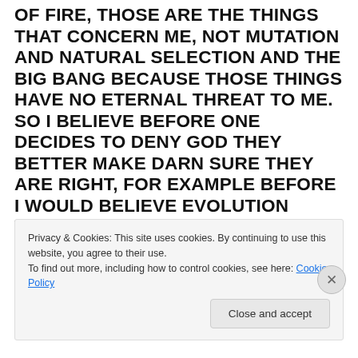OF FIRE, THOSE ARE THE THINGS THAT CONCERN ME, NOT MUTATION AND NATURAL SELECTION AND THE BIG BANG BECAUSE THOSE THINGS HAVE NO ETERNAL THREAT TO ME. SO I BELIEVE BEFORE ONE DECIDES TO DENY GOD THEY BETTER MAKE DARN SURE THEY ARE RIGHT, FOR EXAMPLE BEFORE I WOULD BELIEVE EVOLUTION WHICH HAS NO ETERNAL THREATS I WOULD HAVE TO HAVE EVIDENCE IN MY HAND, BECAUSE IT IS NOT GOOD TO TRUST IN MAN, MAN WILL LET YOU DOWN, I WOULD NEED TO HAVE BEEN THERE WHEN THE BIG
Privacy & Cookies: This site uses cookies. By continuing to use this website, you agree to their use.
To find out more, including how to control cookies, see here: Cookie Policy